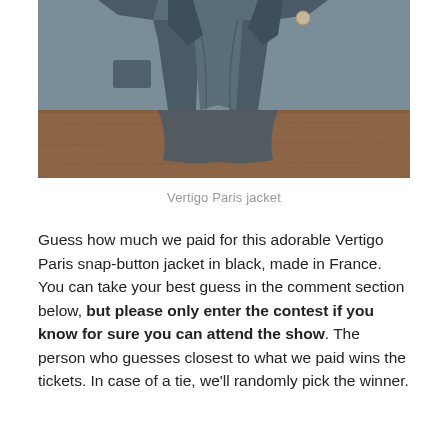[Figure (photo): Photo of a dark gray/slate blue snap-button jacket hanging on a rack, with a wooden surface visible in the background.]
Vertigo Paris jacket
Guess how much we paid for this adorable Vertigo Paris snap-button jacket in black, made in France. You can take your best guess in the comment section below, but please only enter the contest if you know for sure you can attend the show. The person who guesses closest to what we paid wins the tickets. In case of a tie, we'll randomly pick the winner.